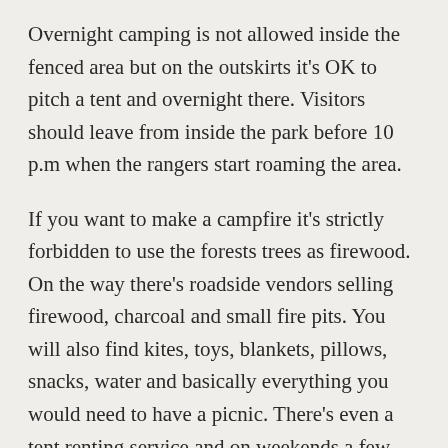Overnight camping is not allowed inside the fenced area but on the outskirts it's OK to pitch a tent and overnight there. Visitors should leave from inside the park before 10 p.m when the rangers start roaming the area.
If you want to make a campfire it's strictly forbidden to use the forests trees as firewood. On the way there's roadside vendors selling firewood, charcoal and small fire pits. You will also find kites, toys, blankets, pillows, snacks, water and basically everything you would need to have a picnic. There's even a tent renting service and on weekends a few Bedouin women come to sell traditional handicrafts and goat milk products.
Directions: From Riyadh take the Dammam highway (route 40E) toward Rumah. After about 40 km turn left to Rumah. Then drive another 55km and you will see